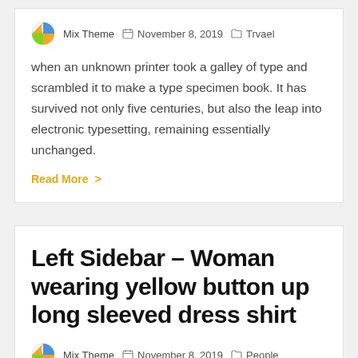Mix Theme  November 8, 2019  Trvael
when an unknown printer took a galley of type and scrambled it to make a type specimen book. It has survived not only five centuries, but also the leap into electronic typesetting, remaining essentially unchanged.
Read More >
Left Sidebar – Woman wearing yellow button up long sleeved dress shirt
Mix Theme  November 8, 2019  People